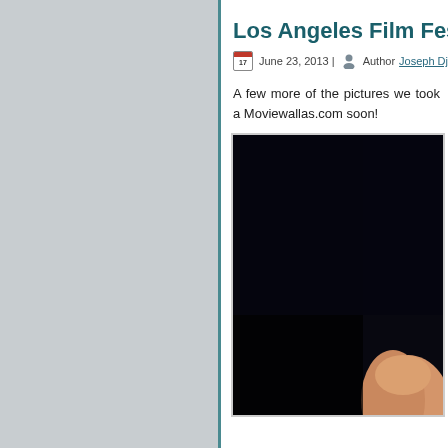Los Angeles Film Fest
June 23, 2013 | Author Joseph Djan -
A few more of the pictures we took a Moviewallas.com soon!
[Figure (photo): Dark photo showing a hand/finger in the foreground against a dark background, partially cropped]